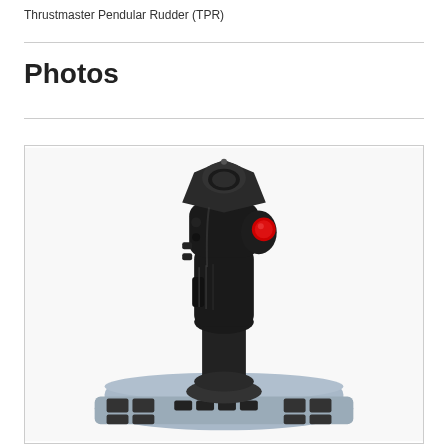Thrustmaster Pendular Rudder (TPR)
Photos
[Figure (photo): Photo of a Thrustmaster joystick/flight stick controller mounted on a base with buttons. The grip is black with a red button on the right side and a scroll wheel/rotary at the top. The base is light blue-gray with multiple black buttons arranged around it.]